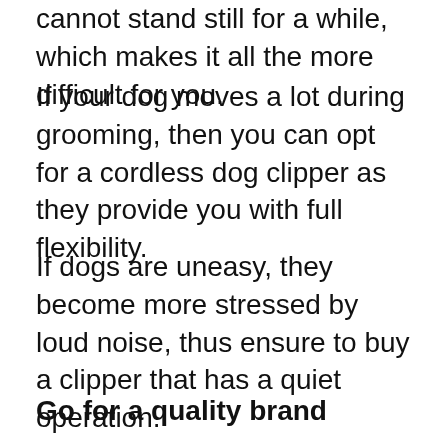cannot stand still for a while, which makes it all the more difficult for you.
If your dog moves a lot during grooming, then you can opt for a cordless dog clipper as they provide you with full flexibility.
If dogs are uneasy, they become more stressed by loud noise, thus ensure to buy a clipper that has a quiet operation.
Go for a quality brand